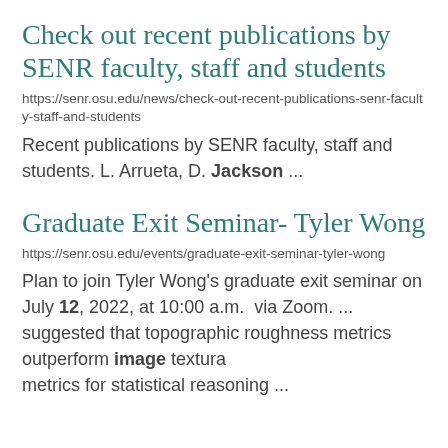Check out recent publications by SENR faculty, staff and students
https://senr.osu.edu/news/check-out-recent-publications-senr-faculty-staff-and-students
Recent publications by SENR faculty, staff and students. L. Arrueta, D. Jackson ...
Graduate Exit Seminar- Tyler Wong
https://senr.osu.edu/events/graduate-exit-seminar-tyler-wong
Plan to join Tyler Wong's graduate exit seminar on July 12, 2022, at 10:00 a.m.  via Zoom. ... suggested that topographic roughness metrics outperform image textura metrics for statistical reasoning ...